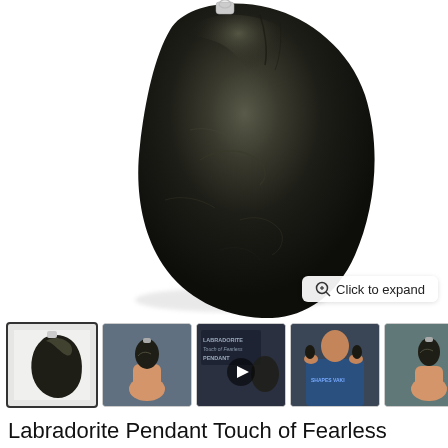[Figure (photo): Large dark labradorite gemstone pendant on white background, showing a smooth oval-shaped dark grey/black stone with light reflections and surface texture]
Click to expand
[Figure (photo): Row of product thumbnails: 1) selected thumbnail of dark oval stone on white background, 2) hand holding labradorite pendant, 3) video thumbnail with text 'Labradorite Touch of Fearless Pendant' with play button, 4) person holding up two pendants wearing blue shirt with text 'Shapes Vaki', 5) hand holding single pendant, 6) partially visible thumbnail. Arrow button on right.]
Labradorite Pendant Touch of Fearless Magic Healer's Gemstone